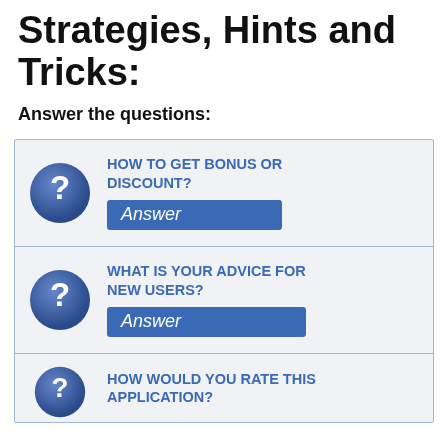Strategies, Hints and Tricks:
Answer the questions:
[Figure (infographic): FAQ-style Q&A panel with question mark icons and blue answer buttons. Row 1: HOW TO GET BONUS OR DISCOUNT? with Answer button. Row 2: WHAT IS YOUR ADVICE FOR NEW USERS? with Answer button. Row 3 (partial): HOW WOULD YOU RATE THIS APPLICATION?]